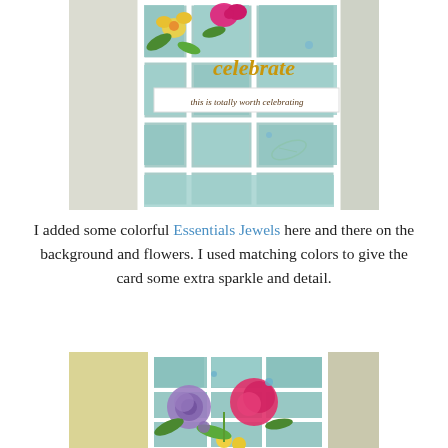[Figure (photo): Close-up photo of a handmade greeting card with a white geometric lattice frame on a teal/mint background, decorated with colorful stamped flowers (yellow, pink/magenta, and green leaves) and text reading 'celebrate' in gold script and 'this is totally worth celebrating' in brown ink. Card is displayed on a white lace surface.]
I added some colorful Essentials Jewels here and there on the background and flowers. I used matching colors to give the card some extra sparkle and detail.
[Figure (photo): Close-up photo of a second handmade greeting card with a white geometric lattice frame on a teal/mint background, decorated with colorful stamped flowers including a purple rose, pink peony, yellow small flowers, and green leaves/stems. Card is displayed on a cream/yellow fabric surface.]